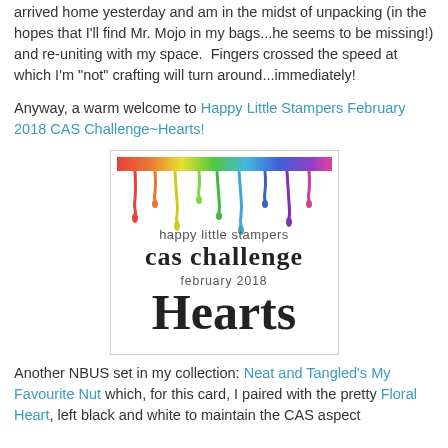arrived home yesterday and am in the midst of unpacking (in the hopes that I'll find Mr. Mojo in my bags...he seems to be missing!) and re-uniting with my space.  Fingers crossed the speed at which I'm "not" crafting will turn around...immediately!
Anyway, a warm welcome to Happy Little Stampers February 2018 CAS Challenge~Hearts!
[Figure (illustration): Happy Little Stampers CAS Challenge February 2018 Hearts badge. Top portion shows colorful paint drips in rainbow colors. Below reads 'happy little stampers' in lowercase, then 'cas challenge' in large bold text, 'february 2018' in smaller text, and 'Hearts' in large serif font at the bottom. White border around the badge image.]
Another NBUS set in my collection: Neat and Tangled's My Favourite Nut which, for this card, I paired with the pretty Floral Heart, left black and white to maintain the CAS aspect